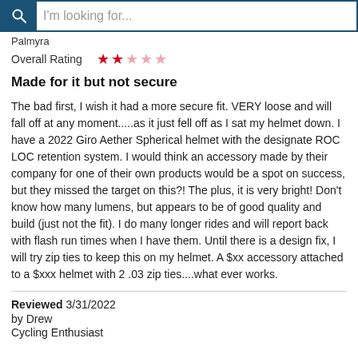I'm looking for...
Palmyra
Overall Rating ★★☆☆☆
Made for it but not secure
The bad first, I wish it had a more secure fit. VERY loose and will fall off at any moment.....as it just fell off as I sat my helmet down. I have a 2022 Giro Aether Spherical helmet with the designate ROC LOC retention system. I would think an accessory made by their company for one of their own products would be a spot on success, but they missed the target on this?! The plus, it is very bright! Don't know how many lumens, but appears to be of good quality and build (just not the fit). I do many longer rides and will report back with flash run times when I have them. Until there is a design fix, I will try zip ties to keep this on my helmet. A $xx accessory attached to a $xxx helmet with 2 .03 zip ties....what ever works.
Reviewed 3/31/2022 by Drew Cycling Enthusiast